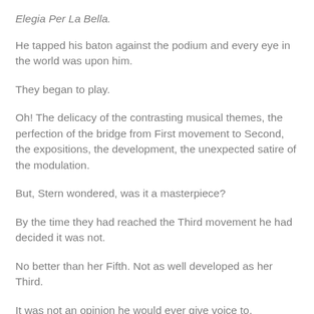Elegia Per La Bella.
He tapped his baton against the podium and every eye in the world was upon him.
They began to play.
Oh! The delicacy of the contrasting musical themes, the perfection of the bridge from First movement to Second, the expositions, the development, the unexpected satire of the modulation.
But, Stern wondered, was it a masterpiece?
By the time they had reached the Third movement he had decided it was not.
No better than her Fifth. Not as well developed as her Third.
It was not an opinion he would ever give voice to, however, not in Mortdieu where critical words were wielded with the precision of a misericordo.